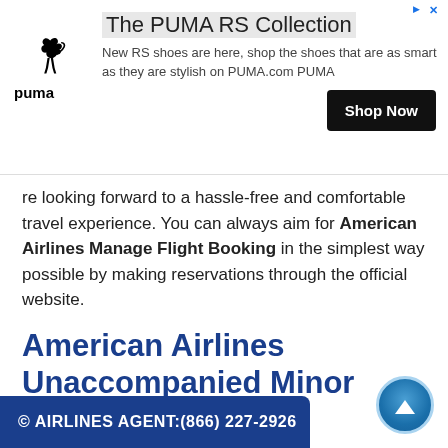[Figure (other): PUMA advertisement banner showing PUMA logo, ad title 'The PUMA RS Collection', body text 'New RS shoes are here, shop the shoes that are as smart as they are stylish on PUMA.com PUMA', and a 'Shop Now' button]
re looking forward to a hassle-free and comfortable travel experience. You can always aim for American Airlines Manage Flight Booking in the simplest way possible by making reservations through the official website.
American Airlines Unaccompanied Minor Policy
The American Airlines unaccompanied minor policy is designed to protect your child. If you have to travel tions is imperative. ns to keep your
[Figure (other): Dark blue banner bar showing: © AIRLINES AGENT:(866) 227-2926]